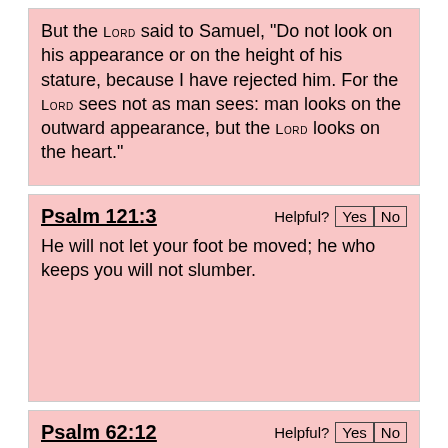But the LORD said to Samuel, "Do not look on his appearance or on the height of his stature, because I have rejected him. For the LORD sees not as man sees: man looks on the outward appearance, but the LORD looks on the heart."
Psalm 121:3
He will not let your foot be moved; he who keeps you will not slumber.
Psalm 62:12
and that to you, O Lord, belongs steadfast